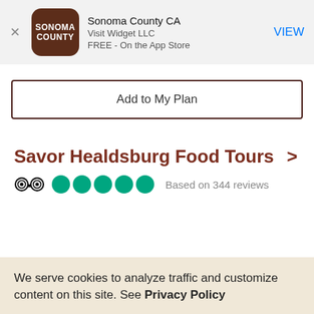[Figure (screenshot): App Store smart banner for Sonoma County CA app by Visit Widget LLC, free on the App Store, with brown rounded square logo showing SONOMA COUNTY text]
Add to My Plan
Savor Healdsburg Food Tours >
[Figure (other): TripAdvisor logo with 5 green circle rating dots and text 'Based on 344 reviews']
We serve cookies to analyze traffic and customize content on this site. See Privacy Policy